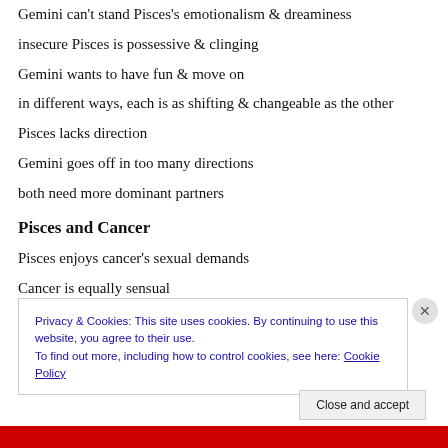Gemini can't stand Pisces's emotionalism & dreaminess
insecure Pisces is possessive & clinging
Gemini wants to have fun & move on
in different ways, each is as shifting & changeable as the other
Pisces lacks direction
Gemini goes off in too many directions
both need more dominant partners
Pisces and Cancer
Pisces enjoys cancer's sexual demands
Cancer is equally sensual
Privacy & Cookies: This site uses cookies. By continuing to use this website, you agree to their use. To find out more, including how to control cookies, see here: Cookie Policy
Close and accept